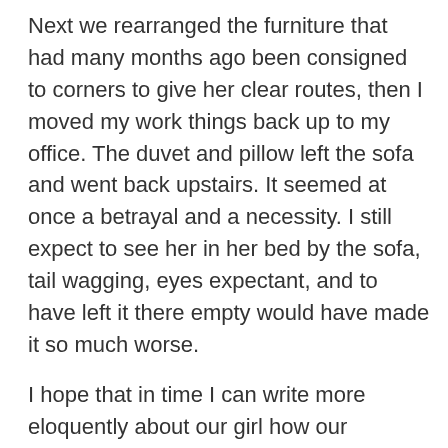Next we rearranged the furniture that had many months ago been consigned to corners to give her clear routes, then I moved my work things back up to my office. The duvet and pillow left the sofa and went back upstairs. It seemed at once a betrayal and a necessity. I still expect to see her in her bed by the sofa, tail wagging, eyes expectant, and to have left it there empty would have made it so much worse.
I hope that in time I can write more eloquently about our girl how our runaway foster fail changed our lives. For now, I'm just too heart-sore. All I can say is that we were truly blessed to have known and loved her. Life will never be the same, but that's how life should be after great love, isn't it? Forever changed by the force of it. Rest well, my darling girl. Until the next time. ❤❤❤